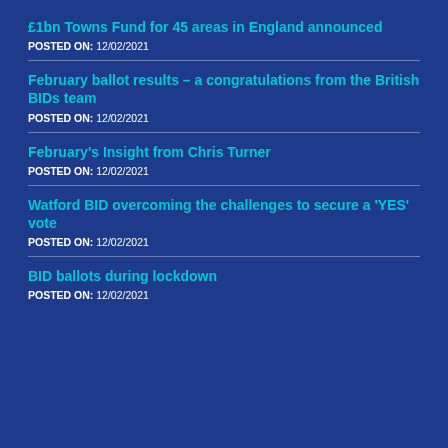£1bn Towns Fund for 45 areas in England announced
POSTED ON: 12/02/2021
February ballot results – a congratulations from the British BIDs team
POSTED ON: 12/02/2021
February's Insight from Chris Turner
POSTED ON: 12/02/2021
Watford BID overcoming the challenges to secure a 'YES' vote
POSTED ON: 12/02/2021
BID ballots during lockdown
POSTED ON: 12/02/2021